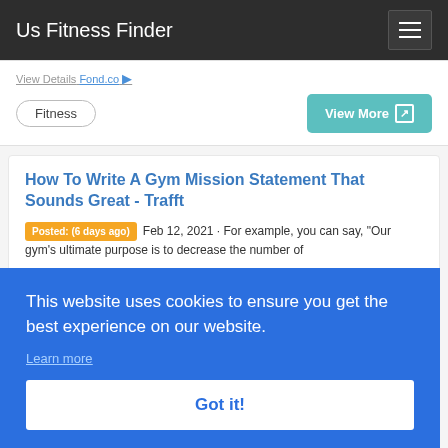Us Fitness Finder
View Details Fond.co
Fitness
View More
How To Write A Gym Mission Statement That Sounds Great - Trafft
Posted: (6 days ago) Feb 12, 2021 · For example, you can say, "Our gym's ultimate purpose is to decrease the number of
This website uses cookies to ensure you get the best experience on our website.
Learn more
Got it!
Popular Searched